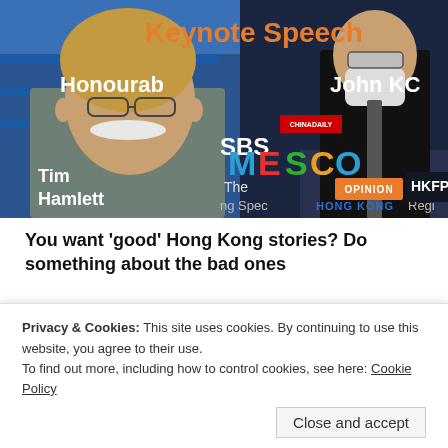[Figure (photo): Composite image: on the left, Tim Hamlett (older man with white mustache and glasses) against a blue background; on the right, a man in a suit and face mask at a podium with 'Keynote Speech' text in orange, a colorful MESO logo, and HKFP OPINION badge overlay.]
You want ‘good’ Hong Kong stories? Do something about the bad ones
[Figure (photo): Partial photo of scaffolding/construction structure, partially obscured by cookie consent banner.]
Privacy & Cookies: This site uses cookies. By continuing to use this website, you agree to their use.
To find out more, including how to control cookies, see here: Cookie Policy
Close and accept